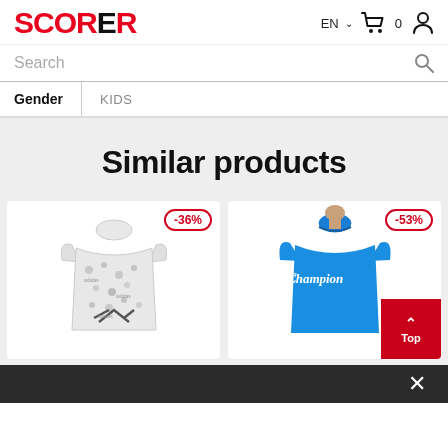[Figure (logo): SCORER logo in red and black]
EN ∨  🛒 0  👤
Search
Gender  KIDS
Similar products
[Figure (photo): Adidas all-over print white t-shirt with -36% discount badge]
[Figure (photo): Champion blue t-shirt with -53% discount badge]
[Figure (other): Red 'Top' scroll-to-top button]
✕